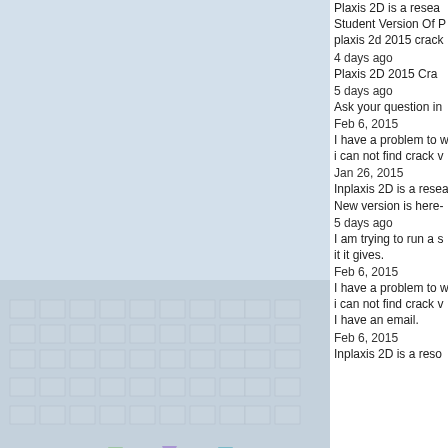[Figure (photo): Photograph of a building exterior with colorful triangular bunting flags strung across the facade, rendered in a soft watercolor/embossed style with light blue and grey tones.]
Plaxis 2D is a resea...
Student Version Of P...
plaxis 2d 2015 crack...
4 days ago
 Plaxis 2D 2015 Cra...
5 days ago
 Ask your question in...
Feb 6, 2015
I have a problem to w...
i can not find crack v...
Jan 26, 2015
Inplaxis 2D is a resea...
New version is here-...
5 days ago
 I am trying to run a s...
it it gives.
Feb 6, 2015
I have a problem to w...
i can not find crack v...
I have an email.
Feb 6, 2015
Inplaxis 2D is a reso...